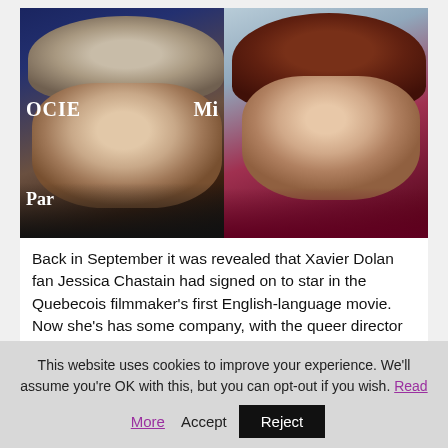[Figure (photo): Two women side by side: left woman has silver-gray hair wearing black, standing before a dark blue backdrop with partial text 'SOCIE' and 'Mi' and 'Par' visible; right woman has auburn hair wearing a dark red/maroon dress, photographed outdoors.]
Back in September it was revealed that Xavier Dolan fan Jessica Chastain had signed on to star in the Quebecois filmmaker's first English-language movie. Now she's has some company, with the queer director ensuring that the film has plenty of impressive female
This website uses cookies to improve your experience. We'll assume you're OK with this, but you can opt-out if you wish. Read More Accept Reject